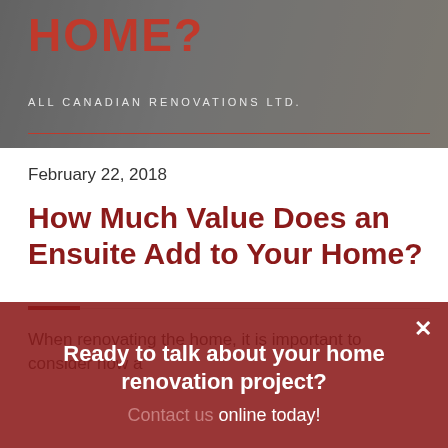[Figure (photo): Website banner image for All Canadian Renovations Ltd. showing partial text 'HOME?' in large red bold letters, with company name 'ALL CANADIAN RENOVATIONS LTD.' below, over a blurred interior photo background with a red rule at the bottom.]
February 22, 2018
How Much Value Does an Ensuite Add to Your Home?
When renovating the home, it is important to consider how a
× Ready to talk about your home renovation project? Contact us online today!